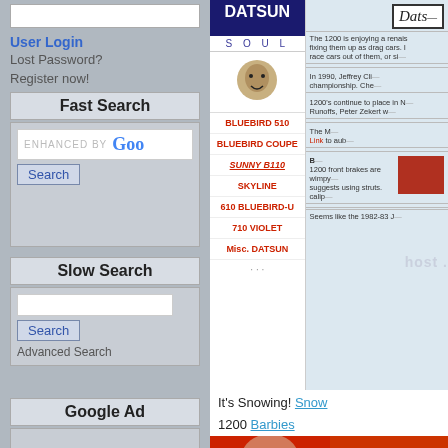User Login
Lost Password?
Register now!
Fast Search
ENHANCED BY Google
Search
Slow Search
Search
Advanced Search
Google Ad
[Figure (screenshot): Datsun website screenshot showing navigation menu with links: BLUEBIRD 510, BLUEBIRD COUPE, SUNNY B110, SKYLINE, 610 BLUEBIRD-U, 710 VIOLET, Misc. DATSUN and article content about 1200 racing and brakes on a blue background]
It's Snowing! Snow
1200 Barbies
[Figure (photo): Partial photo of a red car with person]